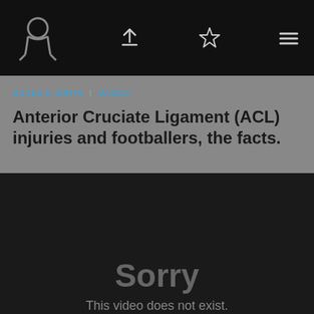Navigation bar with logo and icons
BONES & JOINTS | BASICS
Anterior Cruciate Ligament (ACL) injuries and footballers, the facts.
[Figure (screenshot): Video player error screen showing a pink loading spinner arc and the message 'Sorry This video does not exist.' on a dark background.]